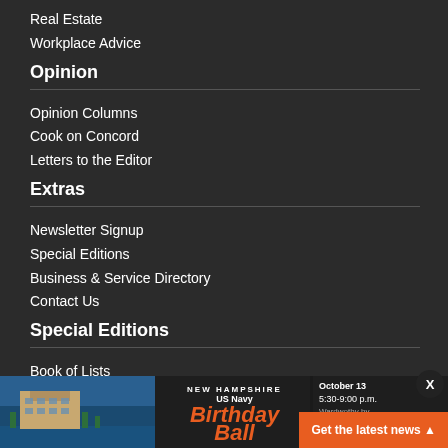Real Estate
Workplace Advice
Opinion
Opinion Columns
Cook on Concord
Letters to the Editor
Extras
Newsletter Signup
Special Editions
Business & Service Directory
Contact Us
Special Editions
Book of Lists
Business Resources NH
Workforce Connection NH
Charitable Giving Guide
Meeting & Events Planner
Resilient NH
Ebook: Facility Manager's Handbook
Events & Awards
NH Bo...
BOB C...
Busin...
Outstanding Women In Business
[Figure (screenshot): US Navy Birthday Ball advertisement banner with event details: October 13, 5:30-9:00 p.m., with Tickets + Info button and Get the latest news orange overlay]